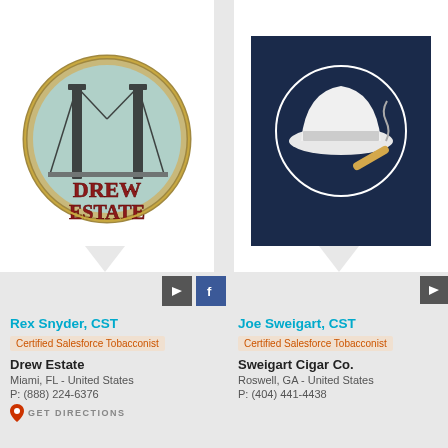[Figure (logo): Drew Estate circular logo with bridge illustration]
[Figure (logo): Dark navy circular logo with cowboy hat and cigar illustration]
Rex Snyder, CST
Certified Salesforce Tobacconist
Drew Estate
Miami, FL - United States
P: (888) 224-6376
GET DIRECTIONS
Joe Sweigart, CST
Certified Salesforce Tobacconist
Sweigart Cigar Co.
Roswell, GA - United States
P: (404) 441-4438
[Figure (logo): Drew Estate circular logo with bridge illustration (bottom)]
[Figure (logo): Sublimes hand made cigars logo in gold script]